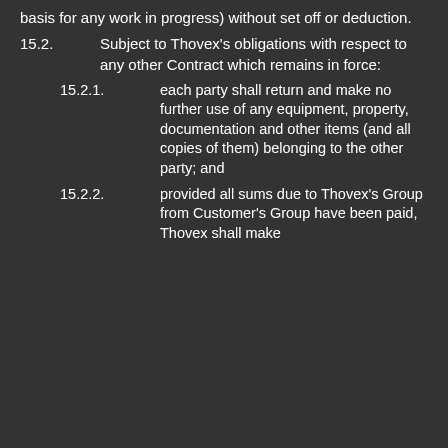basis for any work in progress) without set off or deduction.
15.2. Subject to Thovex's obligations with respect to any other Contract which remains in force:
15.2.1. each party shall return and make no further use of any equipment, property, documentation and other items (and all copies of them) belonging to the other party; and
15.2.2. provided all sums due to Thovex's Group from Customer's Group have been paid, Thovex shall make